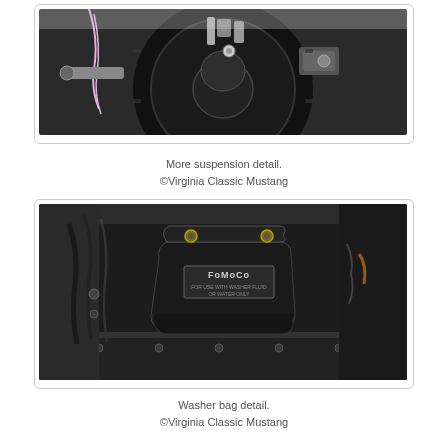[Figure (photo): Close-up photo of a classic Mustang front suspension detail showing a black wheel/tire, suspension components, brake hardware, and wiring against a black wheel well.]
More suspension detail.
©Virginia Classic Mustang
[Figure (photo): Photo of a classic Mustang trunk/engine bay area showing a black FoMoCo washer bag mounted with hardware, wiring, and black-painted metal surfaces.]
Washer bag detail.
©Virginia Classic Mustang